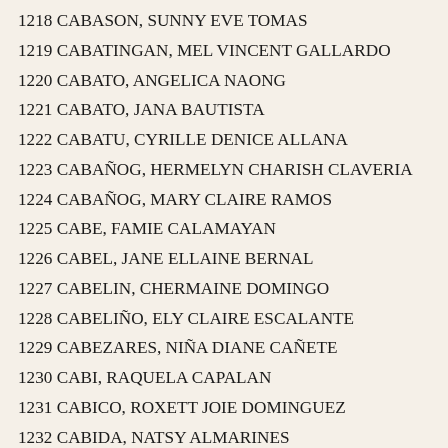1218 CABASON, SUNNY EVE TOMAS
1219 CABATINGAN, MEL VINCENT GALLARDO
1220 CABATO, ANGELICA NAONG
1221 CABATO, JANA BAUTISTA
1222 CABATU, CYRILLE DENICE ALLANA
1223 CABAÑOG, HERMELYN CHARISH CLAVERIA
1224 CABAÑOG, MARY CLAIRE RAMOS
1225 CABE, FAMIE CALAMAYAN
1226 CABEL, JANE ELLAINE BERNAL
1227 CABELIN, CHERMAINE DOMINGO
1228 CABELIÑO, ELY CLAIRE ESCALANTE
1229 CABEZARES, NIÑA DIANE CAÑETE
1230 CABI, RAQUELA CAPALAN
1231 CABICO, ROXETT JOIE DOMINGUEZ
1232 CABIDA, NATSY ALMARINES
1233 CABIGTING, JOANNA MARIE CLEMENTE
1234 CABIL, JURILYN MARICOL
1235 CABILAN, ROSYL SOLIS
1236 CABILATAZAN, LOURIE BENABISE
1237 CABILES, RACHEL CABRERA
1238 CABILIN, HANNAH MAY ARCA
1239 CABILLO, CHRISTINE LATOZA